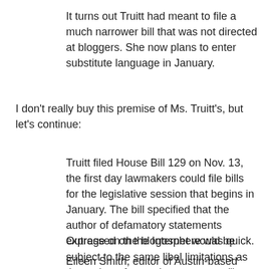It turns out Truitt had meant to file a much narrower bill that was not directed at bloggers. She now plans to enter substitute language in January.
I don't really buy this premise of Ms. Truitt's, but let's continue:
Truitt filed House Bill 129 on Nov. 13, the first day lawmakers could file bills for the legislative session that begins in January. The bill specified that the author of defamatory statements expressed on the Internet would be subject to the same libel limitations as the author of any other statement "in any other written or graphic form."
Outrage on the blogosphere was quick.
Eileen Smith, editor of Austin-based